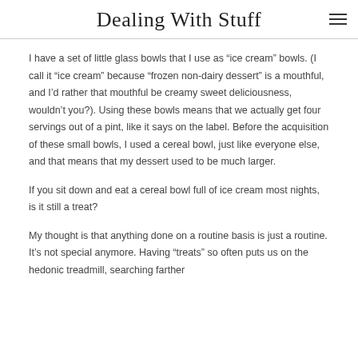Dealing With Stuff
I have a set of little glass bowls that I use as “ice cream” bowls. (I call it “ice cream” because “frozen non-dairy dessert” is a mouthful, and I’d rather that mouthful be creamy sweet deliciousness, wouldn’t you?). Using these bowls means that we actually get four servings out of a pint, like it says on the label. Before the acquisition of these small bowls, I used a cereal bowl, just like everyone else, and that means that my dessert used to be much larger.
If you sit down and eat a cereal bowl full of ice cream most nights, is it still a treat?
My thought is that anything done on a routine basis is just a routine. It’s not special anymore. Having “treats” so often puts us on the hedonic treadmill, searching farther